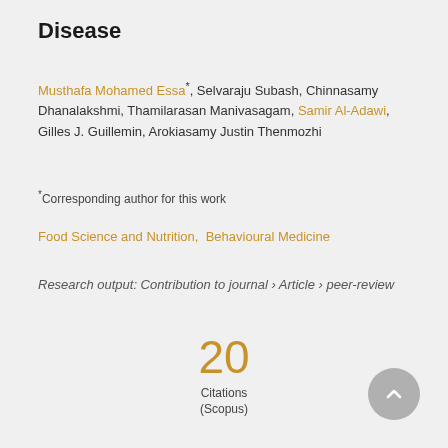Disease
Musthafa Mohamed Essa*, Selvaraju Subash, Chinnasamy Dhanalakshmi, Thamilarasan Manivasagam, Samir Al-Adawi, Gilles J. Guillemin, Arokiasamy Justin Thenmozhi
*Corresponding author for this work
Food Science and Nutrition, Behavioural Medicine
Research output: Contribution to journal › Article › peer-review
20 Citations (Scopus)